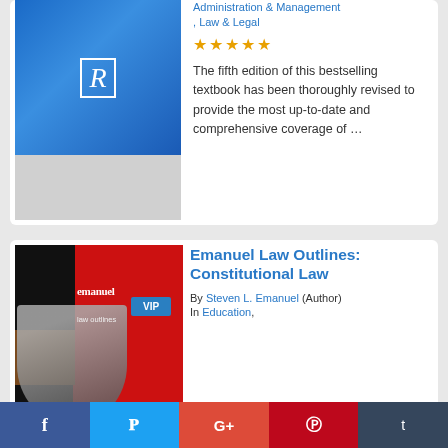[Figure (illustration): Book cover with blue gradient background and white R letter logo, with light gray lower section]
Administration & Management, Law & Legal
★★★★★ (star rating)
The fifth edition of this bestselling textbook has been thoroughly revised to provide the most up-to-date and comprehensive coverage of …
[Figure (illustration): Emanuel Law Outlines Constitutional Law book cover with red and black design, VIP badge overlay]
Emanuel Law Outlines: Constitutional Law
By Steven L. Emanuel (Author)
In Education,